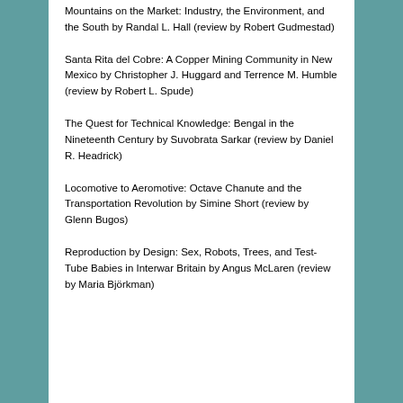Mountains on the Market: Industry, the Environment, and the South by Randal L. Hall (review by Robert Gudmestad)
Santa Rita del Cobre: A Copper Mining Community in New Mexico by Christopher J. Huggard and Terrence M. Humble (review by Robert L. Spude)
The Quest for Technical Knowledge: Bengal in the Nineteenth Century by Suvobrata Sarkar (review by Daniel R. Headrick)
Locomotive to Aeromotive: Octave Chanute and the Transportation Revolution by Simine Short (review by Glenn Bugos)
Reproduction by Design: Sex, Robots, Trees, and Test-Tube Babies in Interwar Britain by Angus McLaren (review by Maria Björkman)